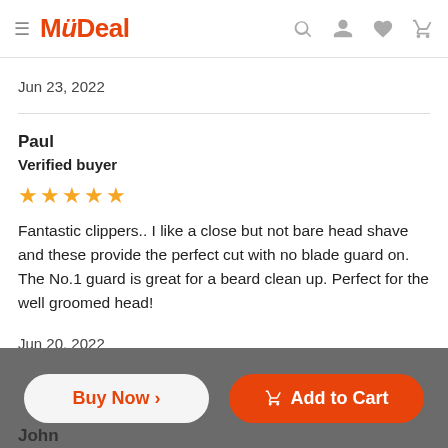MyDeal
Jun 23, 2022
Paul
Verified buyer
★★★★★
Fantastic clippers.. I like a close but not bare head shave and these provide the perfect cut with no blade guard on. The No.1 guard is great for a beard clean up. Perfect for the well groomed head!
Jun 20, 2022
John